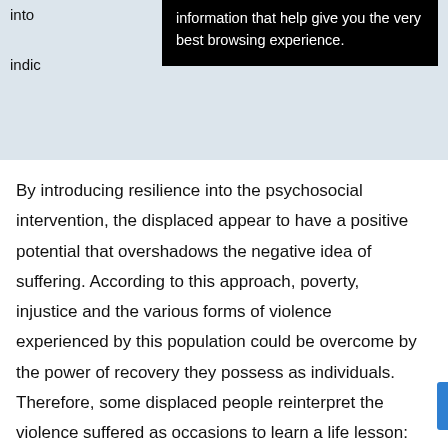into
indic
[Figure (screenshot): Black tooltip overlay with white text reading: 'information that help give you the very best browsing experience.']
By introducing resilience into the psychosocial intervention, the displaced appear to have a positive potential that overshadows the negative idea of suffering. According to this approach, poverty, injustice and the various forms of violence experienced by this population could be overcome by the power of recovery they possess as individuals. Therefore, some displaced people reinterpret the violence suffered as occasions to learn a life lesson: